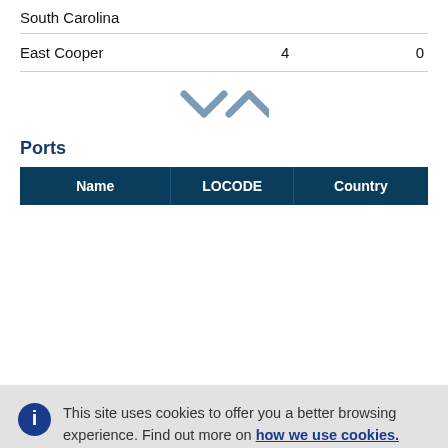|  |  |  |
| --- | --- | --- |
| South Carolina |  |  |
| East Cooper | 4 | 0 |
[Figure (other): Sort toggle icons: down chevron and up chevron in steel blue color]
Ports
| Name | LOCODE | Country |
| --- | --- | --- |
This site uses cookies to offer you a better browsing experience. Find out more on how we use cookies.
Accept all cookies
Accept only essential cookies